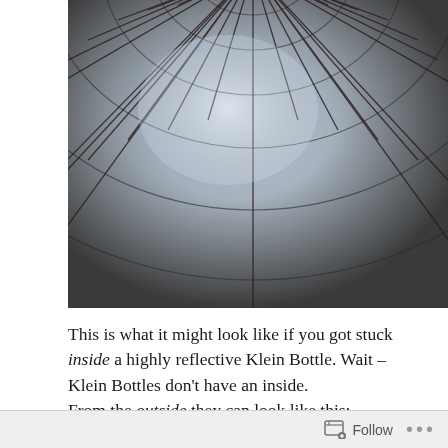[Figure (illustration): View from inside a highly reflective Klein Bottle — a curved grid/mesh pattern of intersecting lines reflecting light, giving a tunnel-like appearance with silver and dark tones.]
This is what it might look like if you got stuck inside a highly reflective Klein Bottle. Wait – Klein Bottles don't have an inside.
From the outside they can look like this:
[Figure (illustration): A 3D rendered Klein Bottle shown from the outside — golden/bronze metallic tube forming a rectangular loop shape with a hollow square interior, resembling a square donut or handle shape.]
Follow ···